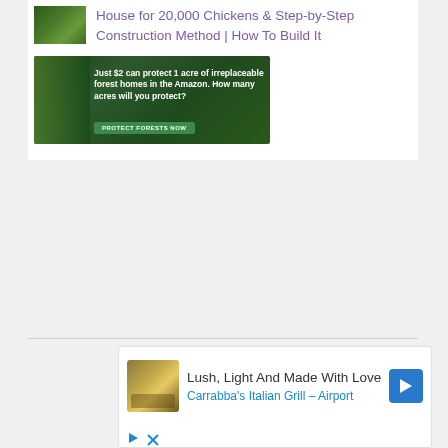[Figure (photo): Small thumbnail image of a green poultry house/agricultural building]
House for 20,000 Chickens & Step-by-Step Construction Method | How To Build It
[Figure (photo): Amazon forest conservation advertisement banner with green jungle background. Text reads: Just $2 can protect 1 acre of irreplaceable forest homes in the Amazon. How many acres will you protect? PROTECT FORESTS NOW]
[Figure (photo): Advertisement card for Carrabba's Italian Grill - Airport. Shows food image on left, text 'Lush, Light And Made With Love' and 'Carrabba's Italian Grill - Airport', with a blue diamond navigation icon on the right. Play and close icons at the bottom.]